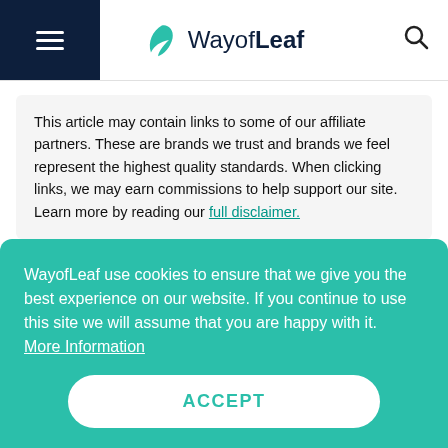WayofLeaf
This article may contain links to some of our affiliate partners. These are brands we trust and brands we feel represent the highest quality standards. When clicking links, we may earn commissions to help support our site. Learn more by reading our full disclaimer.
WayofLeaf use cookies to ensure that we give you the best experience on our website. If you continue to use this site we will assume that you are happy with it. More Information
ACCEPT
associated with improved focus and concentra...